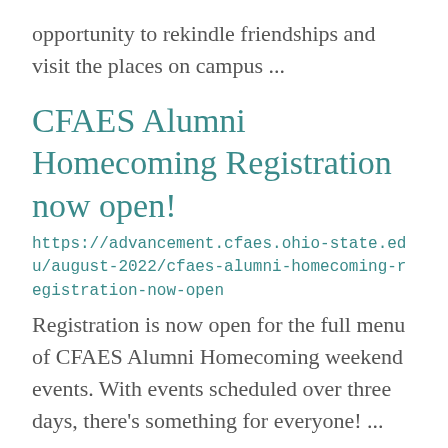opportunity to rekindle friendships and visit the places on campus ...
CFAES Alumni Homecoming Registration now open!
https://advancement.cfaes.ohio-state.edu/august-2022/cfaes-alumni-homecoming-registration-now-open
Registration is now open for the full menu of CFAES Alumni Homecoming weekend events. With events scheduled over three days, there’s something for everyone! ...
Homecoming Registration Open
https://advancement.cfaes.ohio-